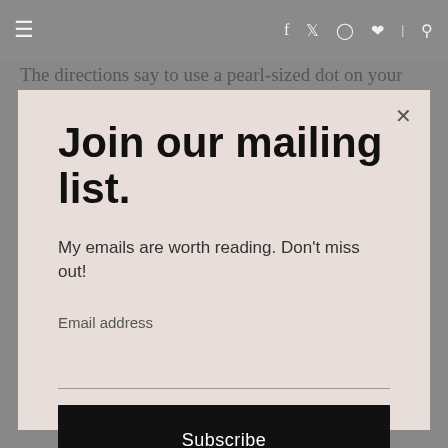navigation bar with hamburger menu, social icons (f, twitter, instagram, pinterest), and search
The directions say to use a pearl-sized dot on your
Join our mailing list.
My emails are worth reading. Don't miss out!
Email address
Subscribe
smoother and gives me that nice fresh dewy look I have the skin of a teenager.